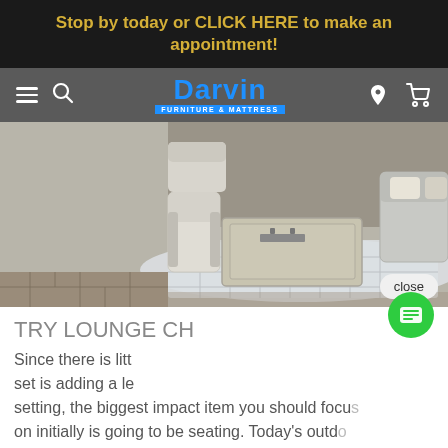Stop by today or CLICK HERE to make an appointment!
[Figure (screenshot): Darvin Furniture & Mattress website navigation bar with hamburger menu, search icon, logo, location pin icon, and cart icon on grey background]
[Figure (photo): Outdoor patio furniture set including lounge chairs and coffee table on a patterned rug with stone wall background]
TRY LOUNGE CH
Since there is litt set is adding a le setting, the biggest impact item you should focus on initially is going to be seating. Today's outd options are stylish and incredibly comfortable, and you don't have to break the bank either.
[Figure (screenshot): Chat popup with female avatar and text: Hi there, have a question? Text us here. Green chat FAB button below.]